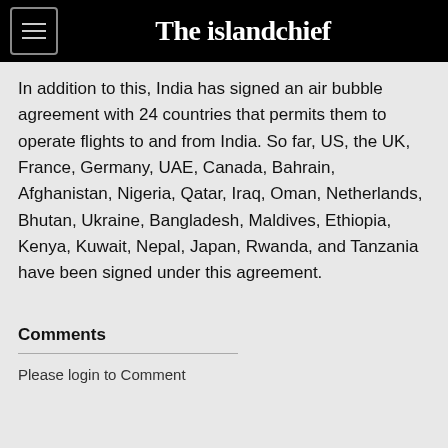The islandchief
In addition to this, India has signed an air bubble agreement with 24 countries that permits them to operate flights to and from India. So far, US, the UK, France, Germany, UAE, Canada, Bahrain, Afghanistan, Nigeria, Qatar, Iraq, Oman, Netherlands, Bhutan, Ukraine, Bangladesh, Maldives, Ethiopia, Kenya, Kuwait, Nepal, Japan, Rwanda, and Tanzania have been signed under this agreement.
Comments
Please login to Comment